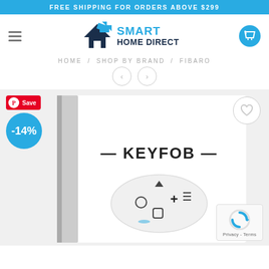FREE SHIPPING FOR ORDERS ABOVE $299
[Figure (logo): Smart Home Direct logo with geometric house icon in dark navy and cyan blue, company name in two lines: SMART in cyan, HOME DIRECT in dark navy]
HOME / SHOP BY BRAND / FIBARO
[Figure (photo): Fibaro Keyfob product — white box with KEYFOB text and a white oval remote control device with multiple buttons including +, circle, square, and directional symbols. Save badge with -14% discount and Pinterest Save button overlay.]